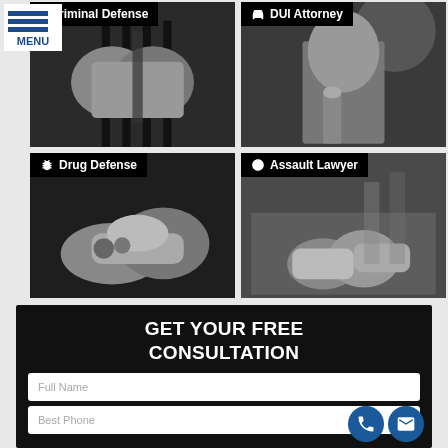[Figure (screenshot): Menu button with three horizontal blue bars and MENU text]
[Figure (photo): Black and white photo of hands gripping jail bars, with 'Criminal Defense' label overlay]
[Figure (photo): Black and white photo of man holding breathalyzer device, with 'DUI Attorney' label overlay]
[Figure (photo): Black and white photo of person in handcuffs, with 'Drug Defense' label overlay]
[Figure (photo): Black and white photo of clenched fists, with 'Assault Lawyer' label overlay]
GET YOUR FREE CONSULTATION
Full Name
Best Phone